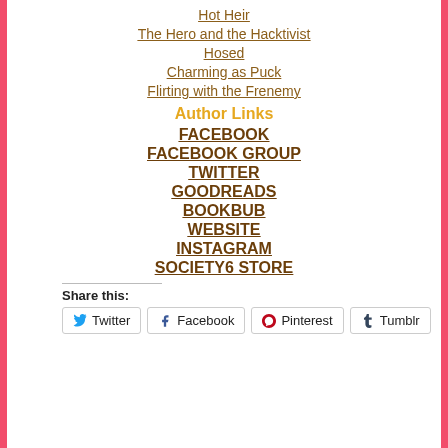Hot Heir
The Hero and the Hacktivist
Hosed
Charming as Puck
Flirting with the Frenemy
Author Links
FACEBOOK
FACEBOOK GROUP
TWITTER
GOODREADS
BOOKBUB
WEBSITE
INSTAGRAM
SOCIETY6 STORE
Share this:
Twitter  Facebook  Pinterest  Tumblr